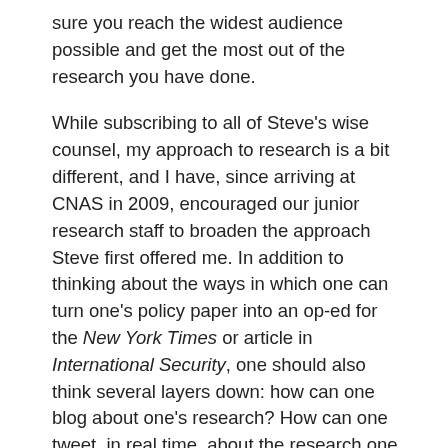sure you reach the widest audience possible and get the most out of the research you have done.
While subscribing to all of Steve's wise counsel, my approach to research is a bit different, and I have, since arriving at CNAS in 2009, encouraged our junior research staff to broaden the approach Steve first offered me. In addition to thinking about the ways in which one can turn one's policy paper into an op-ed for the New York Times or article in International Security, one should also think several layers down: how can one blog about one's research? How can one tweet, in real time, about the research one is doing?
The limitations of the old approach — and of most research produced by think tanks and academia — is the communication is largely one-way. The scholar in the ivory tower thinks deep thoughts, consults with his or her colleagues, locks the door